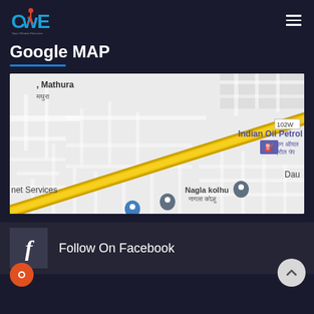CwE logo and hamburger menu
Google MAP
[Figure (map): Google Map showing area near Mathura, India. Features include Indian Oil Petrol Pump (इंडियन ऑयल पेट्रोल पंप), Nagla kolhu (नागला कोल्हू), a yellow diagonal highway/road, road label 102W, partial text 'net Services' on left, partial text 'Dau' on right, and a blue location pin.]
Follow On Facebook